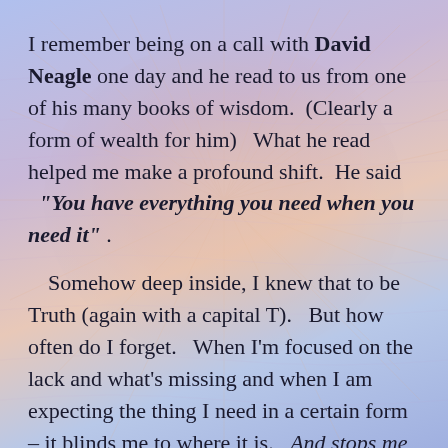I remember being on a call with David Neagle one day and he read to us from one of his many books of wisdom.  (Clearly a form of wealth for him)   What he read helped me make a profound shift.  He said   "You have everything you need when you need it" .
Somehow deep inside, I knew that to be Truth (again with a capital T).   But how often do I forget.   When I'm focused on the lack and what's missing and when I am expecting the thing I need in a certain form – it blinds me to where it is.   And stops me from